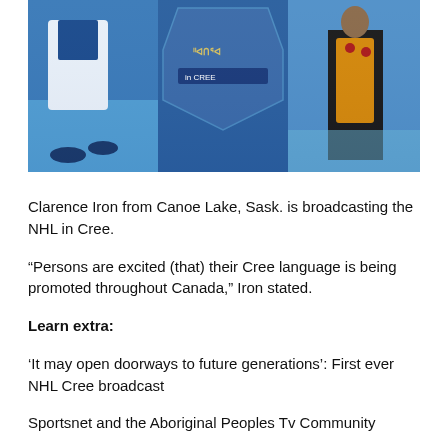[Figure (photo): Photo of a man wearing a traditional Indigenous vest standing in front of a large video wall displaying NHL hockey players on ice and a logo with text in Cree syllabics reading 'in CREE']
Clarence Iron from Canoe Lake, Sask. is broadcasting the NHL in Cree.
“Persons are excited (that) their Cree language is being promoted throughout Canada,” Iron stated.
Learn extra:
‘It may open doorways to future generations’: First ever NHL Cree broadcast
Sportsnet and the Aboriginal Peoples Tv Community